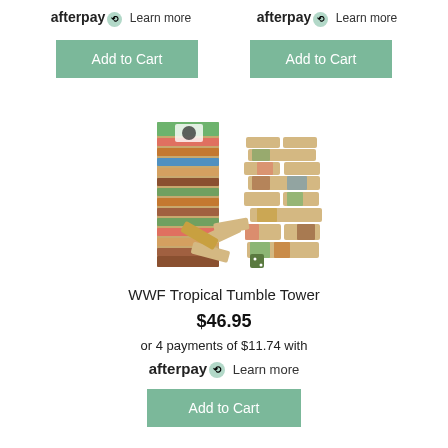afterpay Learn more  afterpay Learn more
Add to Cart   Add to Cart
[Figure (photo): WWF Tropical Tumble Tower product photo showing the game box and stacked colorful wooden blocks with animal print patterns, and some fallen blocks with a die.]
WWF Tropical Tumble Tower
$46.95
or 4 payments of $11.74 with afterpay Learn more
Add to Cart